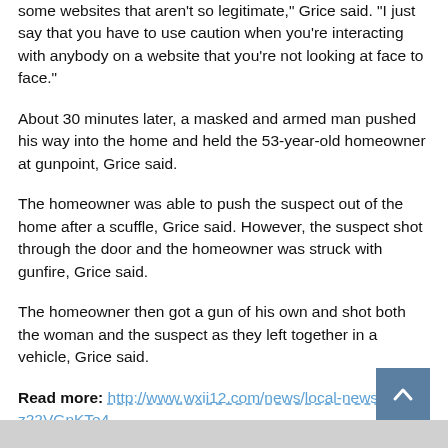some websites that aren't so legitimate," Grice said. "I just say that you have to use caution when you're interacting with anybody on a website that you're not looking at face to face."
About 30 minutes later, a masked and armed man pushed his way into the home and held the 53-year-old homeowner at gunpoint, Grice said.
The homeowner was able to push the suspect out of the home after a scuffle, Grice said. However, the suspect shot through the door and the homeowner was struck with gunfire, Grice said.
The homeowner then got a gun of his own and shot both the woman and the suspect as they left together in a vehicle, Grice said.
Read more: http://www.wxii12.com/news/local-news/p … z22VGnKTe4